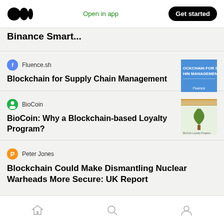Medium app header — Open in app | Get started
Binance Smart...
Fluence.sh
Blockchain for Supply Chain Management
BioCoin
BioCoin: Why a Blockchain-based Loyalty Program?
Peter Jones
Blockchain Could Make Dismantling Nuclear Warheads More Secure: UK Report
Home | Search | Profile